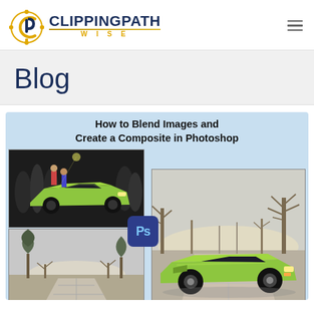[Figure (logo): ClippingPathWise logo with circular CP icon in orange/navy and brand name in navy with gold divider line and WISE in gold below]
CLIPPINGPATH WISE
Blog
[Figure (illustration): Blog article card with light blue background showing title 'How to Blend Images and Create a Composite in Photoshop' with composite photography example: top-left shows green Lamborghini at car show, bottom-left shows park path with trees, right shows large green Lamborghini in park setting, with Photoshop Ps badge overlay]
How to Blend Images and Create a Composite in Photoshop